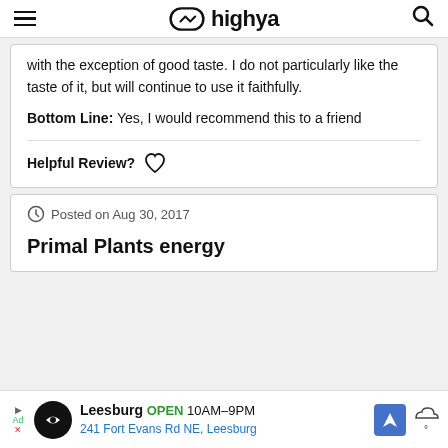highya
with the exception of good taste. I do not particularly like the taste of it, but will continue to use it faithfully.
Bottom Line: Yes, I would recommend this to a friend
Helpful Review?
Posted on Aug 30, 2017
Primal Plants energy